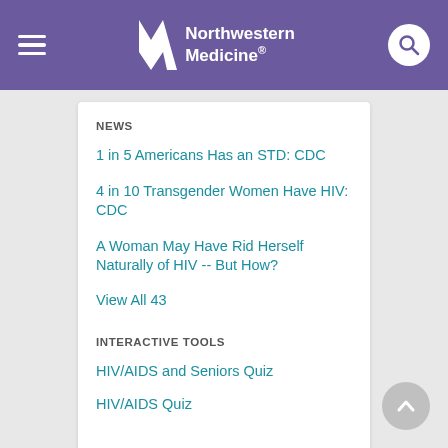Northwestern Medicine
NEWS
1 in 5 Americans Has an STD: CDC
4 in 10 Transgender Women Have HIV: CDC
A Woman May Have Rid Herself Naturally of HIV -- But How?
View All 43
INTERACTIVE TOOLS
HIV/AIDS and Seniors Quiz
HIV/AIDS Quiz